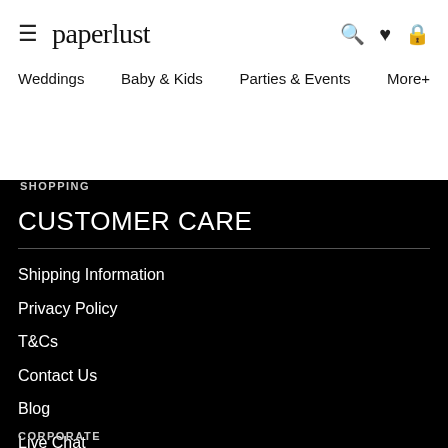paperlust
Weddings   Baby & Kids   Parties & Events   More+
SHOPPING
CUSTOMER CARE
Shipping Information
Privacy Policy
T&Cs
Contact Us
Blog
Live Chat
Invitation Samples
CORPORATE